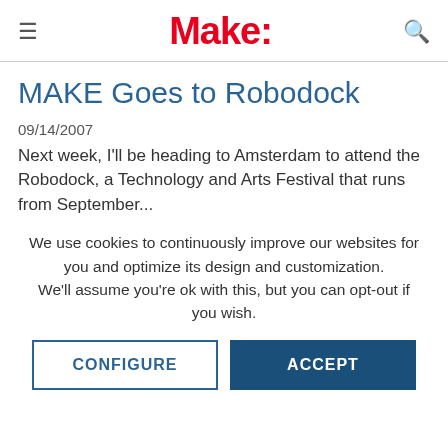Make:
MAKE Goes to Robodock
09/14/2007
Next week, I'll be heading to Amsterdam to attend the Robodock, a Technology and Arts Festival that runs from September...
We use cookies to continuously improve our websites for you and optimize its design and customization.
We'll assume you're ok with this, but you can opt-out if you wish.
CONFIGURE
ACCEPT